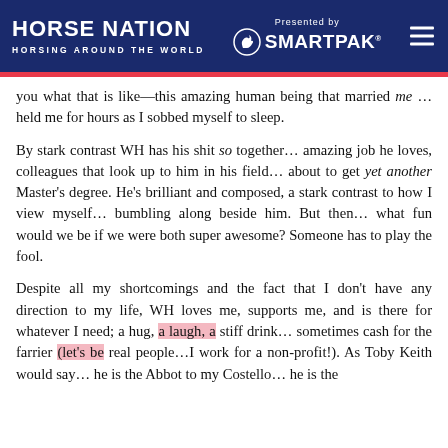HORSE NATION — HORSING AROUND THE WORLD | Presented by SmartPak
you what that is like—this amazing human being that married me … held me for hours as I sobbed myself to sleep.
By stark contrast WH has his shit so together… amazing job he loves, colleagues that look up to him in his field… about to get yet another Master's degree. He's brilliant and composed, a stark contrast to how I view myself… bumbling along beside him. But then… what fun would we be if we were both super awesome? Someone has to play the fool.
Despite all my shortcomings and the fact that I don't have any direction to my life, WH loves me, supports me, and is there for whatever I need; a hug, a laugh, a stiff drink… sometimes cash for the farrier (let's be real people…I work for a non-profit!). As Toby Keith would say… he is the Abbot to my Costello… he is the